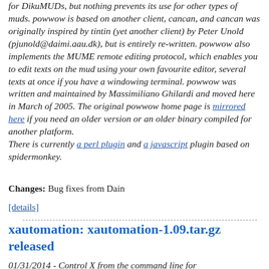for DikuMUDs, but nothing prevents its use for other types of muds. powwow is based on another client, cancan, and cancan was originally inspired by tintin (yet another client) by Peter Unold (pjunold@daimi.aau.dk), but is entirely re-written. powwow also implements the MUME remote editing protocol, which enables you to edit texts on the mud using your own favourite editor, several texts at once if you have a windowing terminal. powwow was written and maintained by Massimiliano Ghilardi and moved here in March of 2005. The original powwow home page is mirrored here if you need an older version or an older binary compiled for another platform. There is currently a perl plugin and a javascript plugin based on spidermonkey.
Changes: Bug fixes from Dain
[details]
xautomation: xautomation-1.09.tar.gz released
01/31/2014 - Control X from the command line for